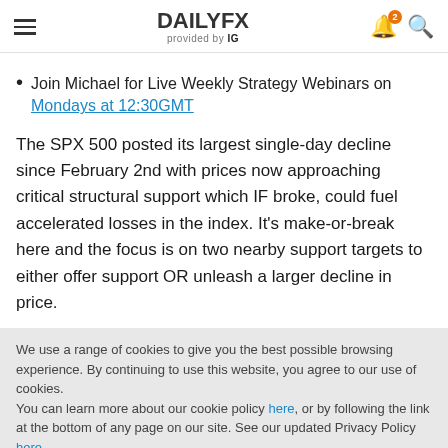DAILYFX provided by IG
Join Michael for Live Weekly Strategy Webinars on Mondays at 12:30GMT
The SPX 500 posted its largest single-day decline since February 2nd with prices now approaching critical structural support which IF broke, could fuel accelerated losses in the index. It's make-or-break here and the focus is on two nearby support targets to either offer support OR unleash a larger decline in price.
We use a range of cookies to give you the best possible browsing experience. By continuing to use this website, you agree to our use of cookies.
You can learn more about our cookie policy here, or by following the link at the bottom of any page on our site. See our updated Privacy Policy here.
Accept